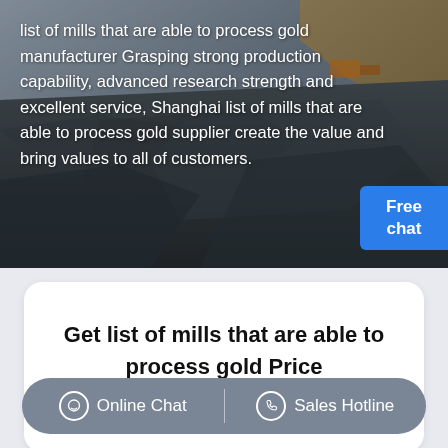[Figure (photo): Aerial view of a mining operation/quarry with heavy machinery, dark rocky terrain, overlaid with white text about gold processing mills.]
list of mills that are able to process gold manufacturer Grasping strong production capability, advanced research strength and excellent service, Shanghai list of mills that are able to process gold supplier create the value and bring values to all of customers.
Free chat
Get list of mills that are able to process gold Price supplier@pfpew.com
Online Chat  |  Sales Hotline